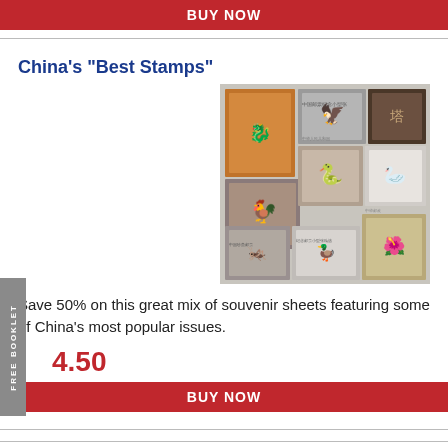BUY NOW
China's "Best Stamps"
[Figure (photo): A collage of Chinese souvenir stamp sheets featuring various popular issues including zodiac animals, cranes, dragons, and other traditional Chinese artwork.]
Save 50% on this great mix of souvenir sheets featuring some of China's most popular issues.
4.50
BUY NOW